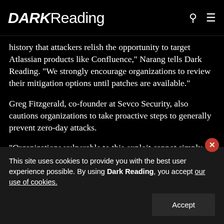DARK Reading
history that attackers relish the opportunity to target Atlassian products like Confluence," Narang tells Dark Reading. "We strongly encourage organizations to review their mitigation options until patches are available."
Greg Fitzgerald, co-founder at Sevco Security, also cautions organizations to take proactive steps to generally prevent zero-day attacks.
“Organizations vulnerable to this exploit cannot simply sit back and assume that this will be resolved through
This site uses cookies to provide you with the best user experience possible. By using Dark Reading, you accept our use of cookies.